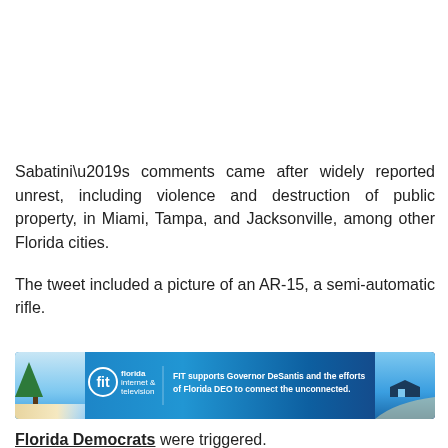Sabatini’s comments came after widely reported unrest, including violence and destruction of public property, in Miami, Tampa, and Jacksonville, among other Florida cities.
The tweet included a picture of an AR-15, a semi-automatic rifle.
[Figure (other): Advertisement banner for Florida Internet & Television (FIT) showing logo and text: 'FIT supports Governor DeSantis and the efforts of Florida DEO to connect the unconnected.']
Florida Democrats were triggered.